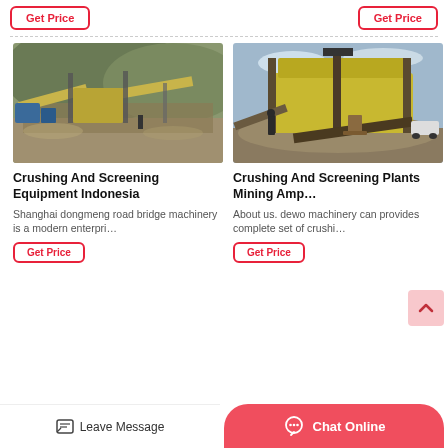Get Price
Get Price
[Figure (photo): Outdoor mining crushing and screening equipment setup with conveyors, crushers and machinery on a hillside]
Crushing And Screening Equipment Indonesia
Shanghai dongmeng road bridge machinery is a modern enterpri…
Get Price
[Figure (photo): Large yellow industrial vibrating screen machine outdoors under blue sky with a person standing nearby]
Crushing And Screening Plants Mining Amp…
About us. dewo machinery can provides complete set of crushi…
Get Price
Leave Message
Chat Online